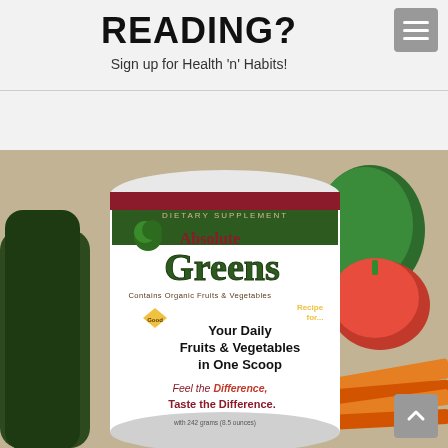READING?
Sign up for Health 'n' Habits!
[Figure (photo): A container of 'Absolute Greens' dietary supplement (powder) held in hand, surrounded by fresh vegetables including broccoli, bell pepper, tomato, zucchini, and carrots. The label reads: DIETARY SUPPLEMENT, Absolute Greens, Contains Organic Fruits & Vegetables, Your Daily Fruits & Vegetables in One Scoop, Feel the Difference, Taste the Difference, 242 grams (8.5 oz).]